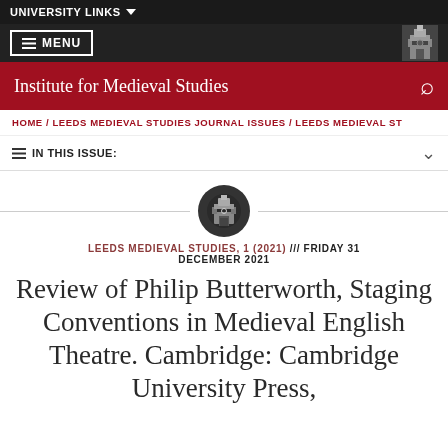UNIVERSITY LINKS
MENU
Institute for Medieval Studies
HOME / LEEDS MEDIEVAL STUDIES JOURNAL ISSUES / LEEDS MEDIEVAL ST
IN THIS ISSUE:
LEEDS MEDIEVAL STUDIES, 1 (2021) /// FRIDAY 31 DECEMBER 2021
Review of Philip Butterworth, Staging Conventions in Medieval English Theatre. Cambridge: Cambridge University Press,